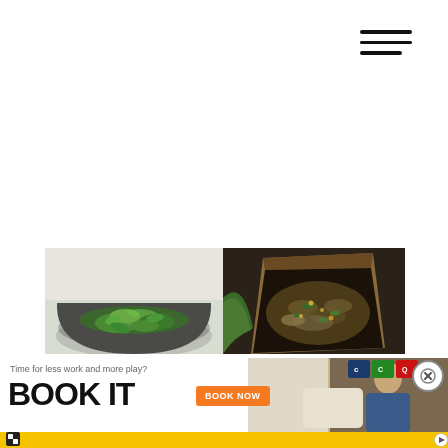[Figure (other): Hamburger/navigation menu icon with three horizontal lines in the top-right corner]
[Figure (photo): Two side-by-side food photos: left shows a pot or bowl with fresh green herbs/spinach, right shows a takeout box with mixed grain/vegetable dish]
[Figure (other): Advertisement banner at the bottom: 'Time for less work and more play? BOOK IT' with orange BOOK NOW button, yellow bottom strip, logos, and a close button]